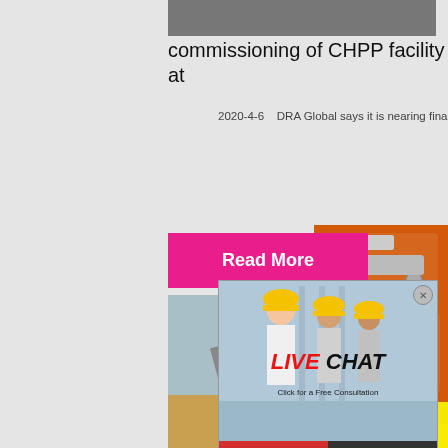[Figure (photo): Top portion of a construction/mining facility image, cropped at top of page]
commissioning of CHPP facility at
2020-4-6    DRA Global says it is nearing final co...
[Figure (photo): Pink 'Read More' button]
[Figure (photo): Construction/mining conveyor belt photo on left side]
[Figure (photo): Live Chat popup overlay with workers in hard hats, LIVE CHAT heading, 'Click for a Free Consultation', Chat now and Chat later buttons]
[Figure (photo): Orange right sidebar with mining equipment illustrations, yellow discount banner 'Enjoy 3% discount', 'Click to Chat', Enquiry section, limingjlmofen@sina.com contact]
Customisation, modularisation de... value to remote ...